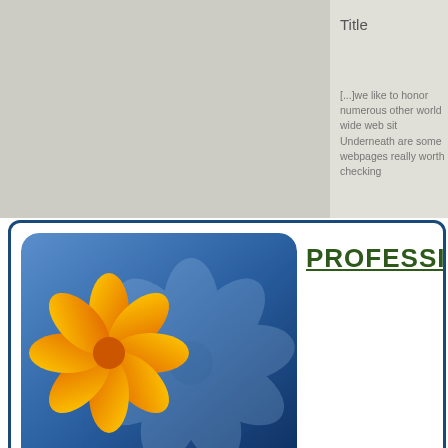Title
[...]we like to honor numerous other world wide web sit
Underneath are some webpages really worth checking
[Figure (logo): Professional Advice website logo with blue rounded square background, large orange and yellow flower, and blue flower silhouette]
PROFESSIONAL ADVI
Upload Your Resume and Get
Daily Job Search Advice | Career Advancement Tips | Informative Articles on Life Lessons And much more...
Email Address
Upload Resume   Choose File  No file chosen